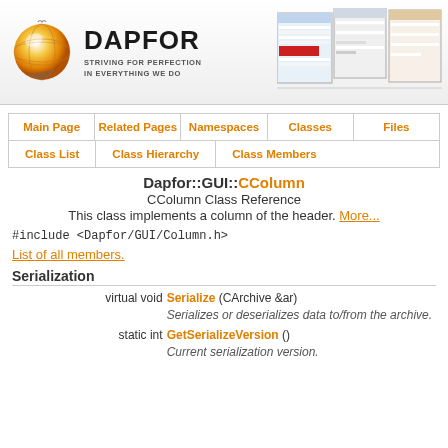[Figure (logo): Dapfor logo with globe icon and tagline 'Striving for Perfection in Everything We Do', plus screenshot thumbnails on the right]
| Main Page | Related Pages | Namespaces | Classes | Files |
| --- | --- | --- | --- | --- |
| Class List | Class Hierarchy | Class Members |
| --- | --- | --- |
Dapfor::GUI::CColumn
CColumn Class Reference
This class implements a column of the header. More...
#include <Dapfor/GUI/Column.h>
List of all members.
Serialization
| virtual void | Serialize (CArchive &ar) | Serializes or deserializes data to/from the archive. |
| static int | GetSerializeVersion () | Current serialization version. |